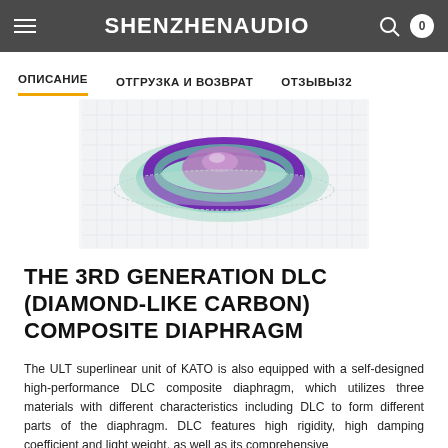SHENZHENAUDIO
ОПИСАНИЕ | ОТГРУЗКА И ВОЗВРАТ | ОТЗЫВЫ32
[Figure (illustration): 3D render of a DLC composite diaphragm showing layered dome structure with green and purple gradient colors on a grid background]
THE 3RD GENERATION DLC (DIAMOND-LIKE CARBON) COMPOSITE DIAPHRAGM
The ULT superlinear unit of KATO is also equipped with a self-designed high-performance DLC composite diaphragm, which utilizes three materials with different characteristics including DLC to form different parts of the diaphragm. DLC features high rigidity, high damping coefficient and light weight, as well as its comprehensive